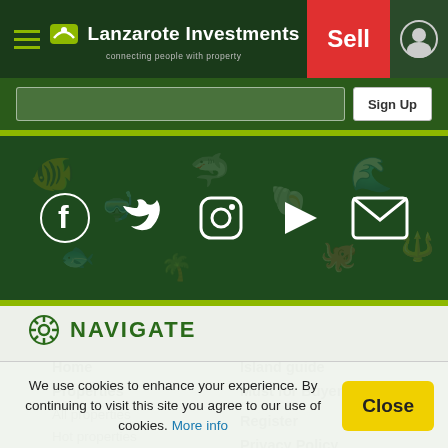Lanzarote Investments — connecting people with property | Sell
[Figure (screenshot): Social media icons: Facebook, Twitter, Instagram, YouTube/Play, Email on dark green background with ocean pattern]
NAVIGATE
Home
Properties
All properties
Hot properties
Fine properties
Island guide
Must for Buyers
Register
Privacy Policy
We use cookies to enhance your experience. By continuing to visit this site you agree to our use of cookies. More info